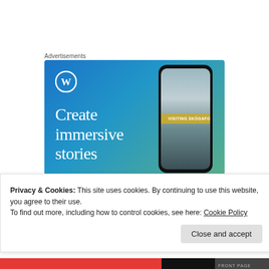Advertisements
[Figure (screenshot): WordPress advertisement banner showing 'Create immersive stories' text with a phone mockup displaying a waterfall photo captioned 'VISITING SKÓGAFOSS' on a blue-green gradient background with WordPress logo.]
Edmund Leigh on August 5, 2013 at 12:26
Privacy & Cookies: This site uses cookies. By continuing to use this website, you agree to their use.
To find out more, including how to control cookies, see here: Cookie Policy
Close and accept